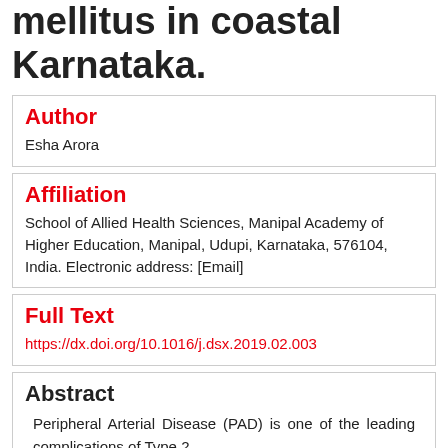mellitus in coastal Karnataka.
Author
Esha Arora
Affiliation
School of Allied Health Sciences, Manipal Academy of Higher Education, Manipal, Udupi, Karnataka, 576104, India. Electronic address: [Email]
Full Text
https://dx.doi.org/10.1016/j.dsx.2019.02.003
Abstract
Peripheral Arterial Disease (PAD) is one of the leading complications of Type 2